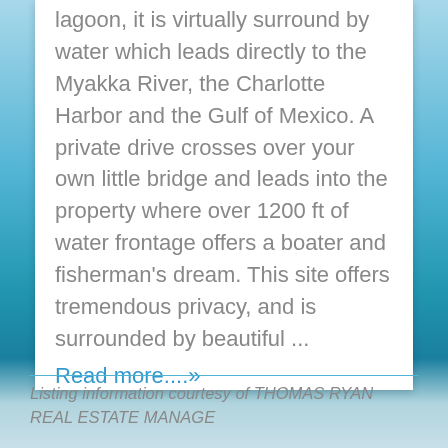lagoon, it is virtually surround by water which leads directly to the Myakka River, the Charlotte Harbor and the Gulf of Mexico. A private drive crosses over your own little bridge and leads into the property where over 1200 ft of water frontage offers a boater and fisherman's dream. This site offers tremendous privacy, and is surrounded by beautiful ... Read more....»
Listing information courtesy of THOMAS RYAN REAL ESTATE MANAGE